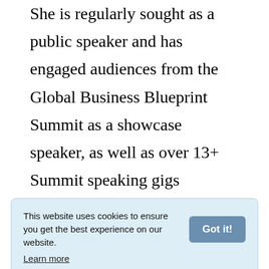She is regularly sought as a public speaker and has engaged audiences from the Global Business Blueprint Summit as a showcase speaker, as well as over 13+ Summit speaking gigs globally. As an artist and digital product designer, Amy has designed and sold thousands of workshops, products and courses, and was awarded as the winner of the Cass
This website uses cookies to ensure you get the best experience on our website. Learn more [Got it!]
publications on The Huffington Post,